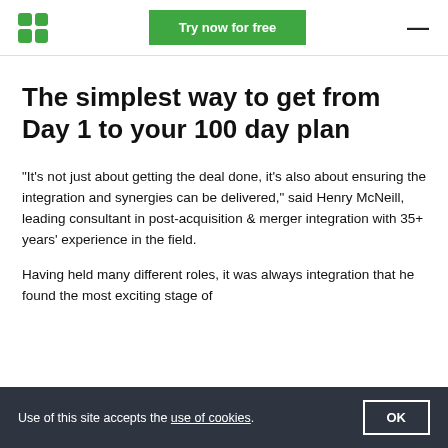Try now for free
The simplest way to get from Day 1 to your 100 day plan
“It’s not just about getting the deal done, it’s also about ensuring the integration and synergies can be delivered,” said Henry McNeill, leading consultant in post-acquisition & merger integration with 35+ years’ experience in the field.
Having held many different roles, it was always integration that he found the most exciting stage of
Use of this site accepts the use of cookies.  OK